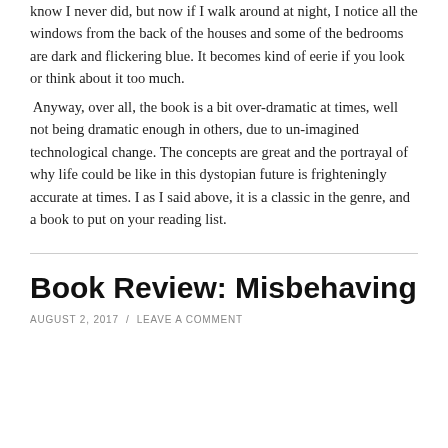know I never did, but now if I walk around at night, I notice all the windows from the back of the houses and some of the bedrooms are dark and flickering blue. It becomes kind of eerie if you look or think about it too much.
Anyway, over all, the book is a bit over-dramatic at times, well not being dramatic enough in others, due to un-imagined technological change. The concepts are great and the portrayal of why life could be like in this dystopian future is frighteningly accurate at times. I as I said above, it is a classic in the genre, and a book to put on your reading list.
Book Review: Misbehaving
AUGUST 2, 2017  /  LEAVE A COMMENT